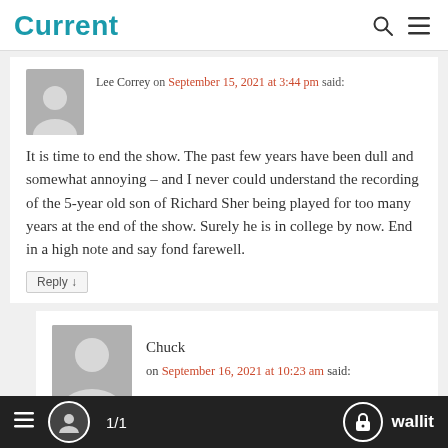Current
Lee Correy on September 15, 2021 at 3:44 pm said:
It is time to end the show. The past few years have been dull and somewhat annoying – and I never could understand the recording of the 5-year old son of Richard Sher being played for too many years at the end of the show. Surely he is in college by now. End in a high note and say fond farewell.
Reply
Chuck on September 16, 2021 at 10:23 am said:
1/1  wallit